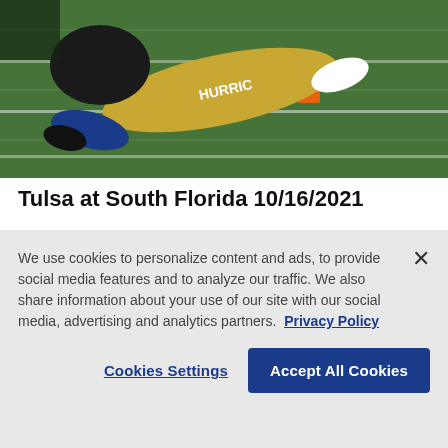[Figure (photo): Football player diving toward the end zone pylon on a green field, wearing gold/white uniform with helmet]
Tulsa at South Florida 10/16/2021
Oct. 16, 2021 01:47 PM EDT
[Figure (photo): Football players on field at night game, players in helmets including silver/black striped helmet and blue/gold helmet]
We use cookies to personalize content and ads, to provide social media features and to analyze our traffic. We also share information about your use of our site with our social media, advertising and analytics partners.  Privacy Policy